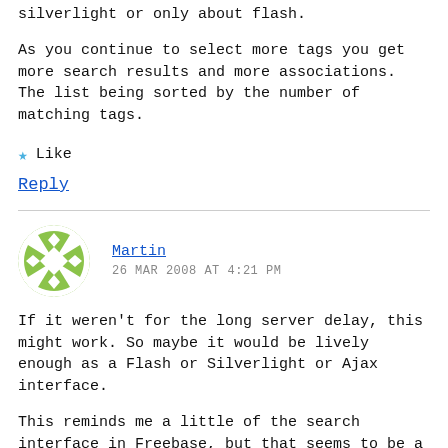silverlight or only about flash.
As you continue to select more tags you get more search results and more associations. The list being sorted by the number of matching tags.
Like
Reply
Martin
26 MAR 2008 AT 4:21 PM
If it weren’t for the long server delay, this might work. So maybe it would be lively enough as a Flash or Silverlight or Ajax interface.
This reminds me a little of the search interface in Freebase, but that seems to be a little more self-explanatory.